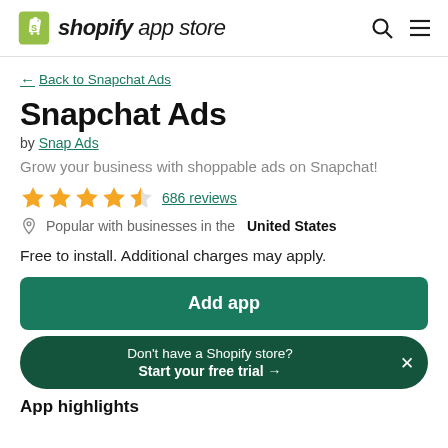shopify app store
← Back to Snapchat Ads
Snapchat Ads
by Snap Ads
Grow your business with shoppable ads on Snapchat!
★★★★½  686 reviews
Popular with businesses in the United States
Free to install. Additional charges may apply.
Add app
Don't have a Shopify store? Start your free trial →
App highlights